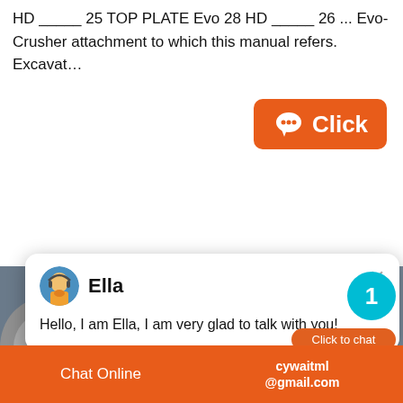HD _____ 25 TOP PLATE Evo 28 HD _____ 26 ... Evo-Crusher attachment to which this manual refers. Excavat…
[Figure (screenshot): Orange 'Click' button with chat bubble icon]
[Figure (screenshot): Live chat popup with agent avatar named Ella and message: Hello, I am Ella, I am very glad to talk with you!]
[Figure (photo): Industrial machinery photo showing yellow crusher equipment and metal components]
[Figure (screenshot): Right side panel with cyan notification circle showing '1', orange 'Click to chat' button, and red 'Enquiry' label]
Chat Online   cywaitml @gmail.com